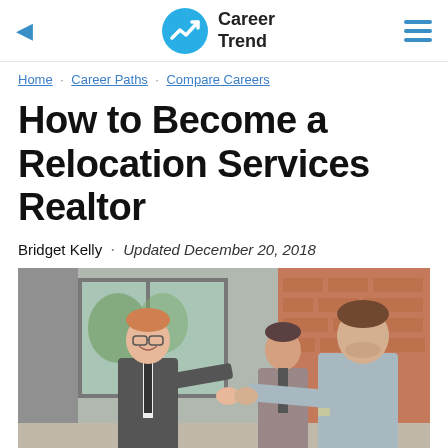Career Trend
Home · Career Paths · Compare Careers
How to Become a Relocation Services Realtor
Bridget Kelly · Updated December 20, 2018
[Figure (photo): A man in a suit shaking hands with another man while a woman stands nearby, in an office or building interior setting.]